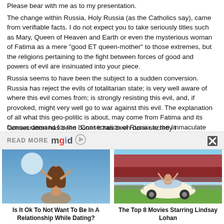Please bear with me as to my presentation. The change within Russia, Holy Russia (as the Catholics say), came from verifiable facts. I do not expect you to take seriously titles such as Mary, Queen of Heaven and Earth or even the mysterious woman of Fatima as a mere “good ET queen-mother” to those extremes, but the religions pertaining to the fight between forces of good and powers of evil are insinuated into your piece. Russia seems to have been the subject to a sudden conversion. Russia has reject the evils of totalitarian state; is very well aware of where this evil comes from; is strongly resisting this evil, and, if provoked, might very well go to war against this evil. The explanation of all what this geo-politic is about, may come from Fatima and its famous demand for the “Consecration of Russia to the Immaculate Heart of Mary, by the Pope and all the bishops of the world”. This said Consecration has been done! It has been done secretly i
READ MORE mgid
[Figure (photo): Woman with back turned facing a large moon in a blue sky]
Is It Ok To Not Want To Be In A Relationship While Dating?
[Figure (photo): Woman standing on top of a car with arms raised at an outdoor event]
The Top 8 Movies Starring Lindsay Lohan